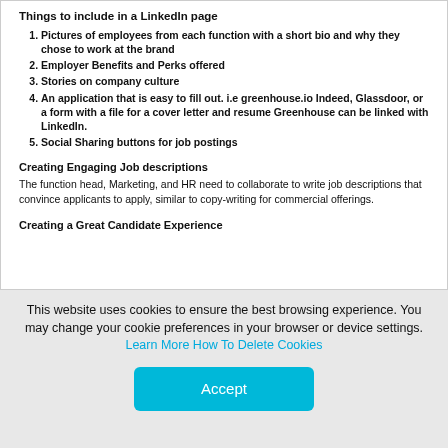Things to include in a LinkedIn page
Pictures of employees from each function with a short bio and why they chose to work at the brand
Employer Benefits and Perks offered
Stories on company culture
An application that is easy to fill out. i.e greenhouse.io Indeed, Glassdoor, or a form with a file for a cover letter and resume Greenhouse can be linked with LinkedIn.
Social Sharing buttons for job postings
Creating Engaging Job descriptions
The function head, Marketing, and HR need to collaborate to write job descriptions that convince applicants to apply, similar to copy-writing for commercial offerings.
Creating a Great Candidate Experience
This website uses cookies to ensure the best browsing experience. You may change your cookie preferences in your browser or device settings. Learn More How To Delete Cookies
Accept